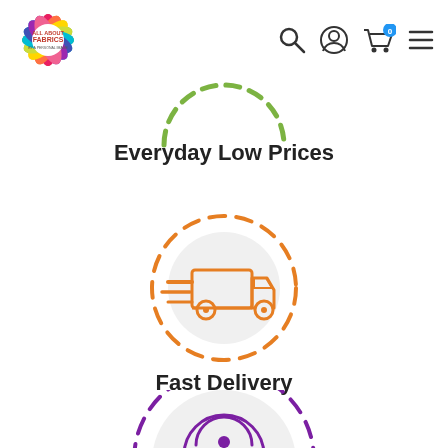[Figure (logo): All About Fabrics colorful star/flower logo in top left]
[Figure (infographic): Navigation icons: search magnifier, user/account circle, shopping cart with 0 badge, hamburger menu]
[Figure (illustration): Partial green dashed circle icon representing Everyday Low Prices, cut off at top]
Everyday Low Prices
[Figure (illustration): Orange dashed circle with fast delivery truck icon inside grey solid circle]
Fast Delivery
[Figure (illustration): Purple dashed circle with hand clicking/touch icon inside grey solid circle, partially cut off at bottom]